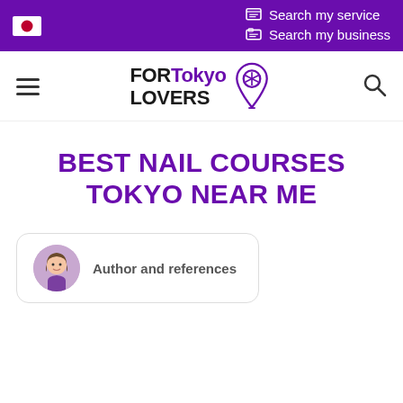Search my service | Search my business
[Figure (logo): FORTokyo LOVERS logo with location pin icon and navigation bar with hamburger menu and search icon]
BEST NAIL COURSES TOKYO NEAR ME
Author and references